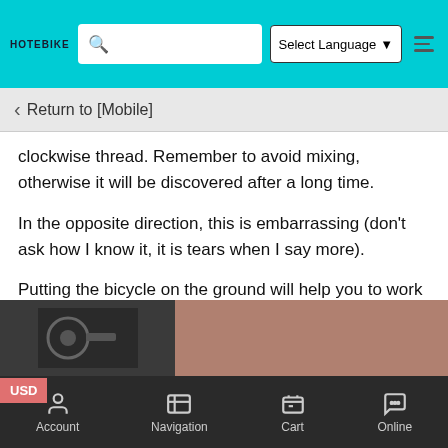HOTEBIKE | Search | Select Language | Menu
Return to [Mobile]
clockwise thread. Remember to avoid mixing, otherwise it will be discovered after a long time.
In the opposite direction, this is embarrassing (don't ask how I know it, it is tears when I say more).
Putting the bicycle on the ground will help you to work harder.
rt with the drive side and turn the crank to the "3" o'clock position.
Hold the crank on the non-drive side with your hand, then use the 8mm Allen key to turn the pedal counterclockwise to remove it.
[Figure (photo): Two photos showing bicycle pedal removal process]
Account | Navigation | Cart | Online